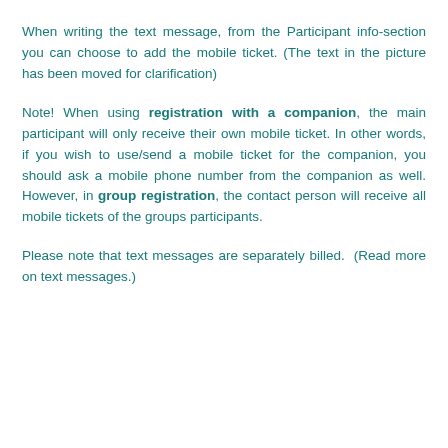When writing the text message, from the Participant info-section you can choose to add the mobile ticket. (The text in the picture has been moved for clarification)
Note! When using registration with a companion, the main participant will only receive their own mobile ticket. In other words, if you wish to use/send a mobile ticket for the companion, you should ask a mobile phone number from the companion as well. However, in group registration, the contact person will receive all mobile tickets of the groups participants.
Please note that text messages are separately billed. (Read more on text messages.)